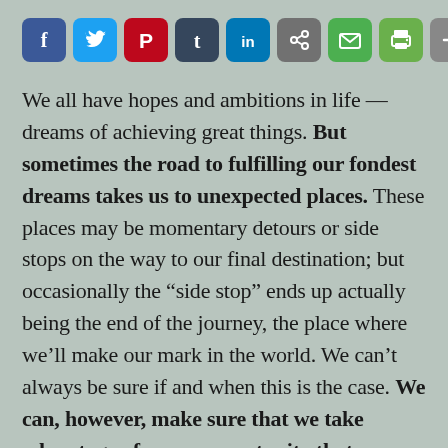[Figure (other): Social media sharing icons bar: Facebook (blue), Twitter (blue), Pinterest (red), Tumblr (dark blue), LinkedIn (blue), share/link (gray), email (green), print (green), plus/more (gray)]
We all have hopes and ambitions in life — dreams of achieving great things. But sometimes the road to fulfilling our fondest dreams takes us to unexpected places. These places may be momentary detours or side stops on the way to our final destination; but occasionally the “side stop” ends up actually being the end of the journey, the place where we’ll make our mark in the world. We can’t always be sure if and when this is the case. We can, however, make sure that we take advantage of every opportunity that comes our way, even if it’s not the perfect fulfillment of the dream, or the best use of our gifts and